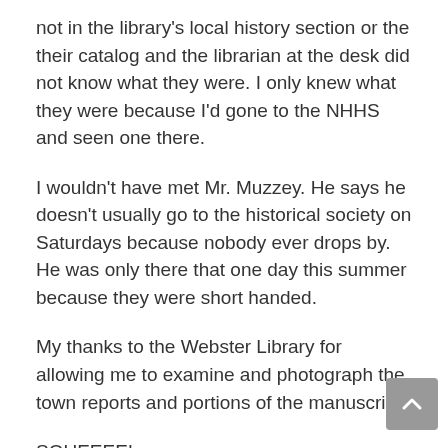not in the library’s local history section or the their catalog and the librarian at the desk did not know what they were. I only knew what they were because I’d gone to the NHHS and seen one there.
I wouldn’t have met Mr. Muzzey. He says he doesn’t usually go to the historical society on Saturdays because nobody ever drops by. He was only there that one day this summer because they were short handed.
My thanks to the Webster Library for allowing me to examine and photograph the town reports and portions of the manuscript.
SQUEEEE!